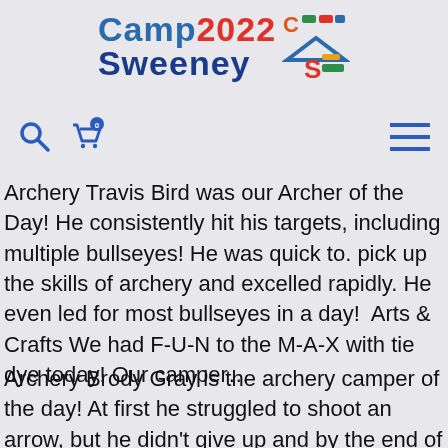[Figure (logo): Camp Sweeney 2022 logo with colorful text and icon]
[Figure (infographic): Navigation bar with search icon, shopping cart with badge showing 0, and hamburger menu]
Archery Travis Bird was our Archer of the Day! He consistently hit his targets, including multiple bullseyes! He was quick to. pick up the skills of archery and excelled rapidly. He even led for most bullseyes in a day!  Arts & Crafts We had F-U-N to the M-A-X with tie dye today! Our camper…
Archery Brody Gray is the archery camper of the day! At first he struggled to shoot an arrow, but he didn't give up and by the end of class he was hitting a bunch of targets. Advanced